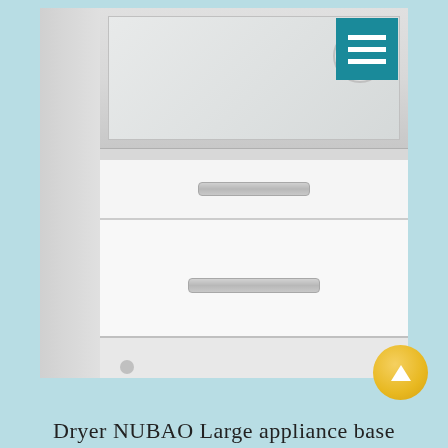[Figure (photo): Product photo of a white large appliance (dryer/washer) base unit with two drawers and silver bar handles, shown on casters against a light background. A teal square menu icon appears in the top right corner of the photo. Product is NUBAO brand.]
Dryer NUBAO Large appliance base